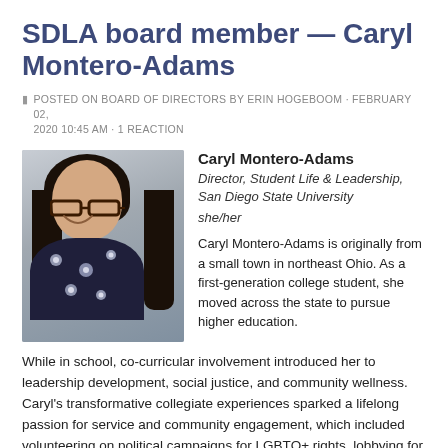SDLA board member — Caryl Montero-Adams
POSTED ON BOARD OF DIRECTORS BY ERIN HOGEBOOM · FEBRUARY 02, 2020 10:45 AM · 1 REACTION
[Figure (photo): Portrait photo of Caryl Montero-Adams, a woman with long dark hair and glasses, wearing a dark floral top, smiling in front of a light stone wall background.]
Caryl Montero-Adams
Director, Student Life & Leadership, San Diego State University
she/her

Caryl Montero-Adams is originally from a small town in northeast Ohio. As a first-generation college student, she moved across the state to pursue higher education. While in school, co-curricular involvement introduced her to leadership development, social justice, and community wellness. Caryl's transformative collegiate experiences sparked a lifelong passion for service and community engagement, which included volunteering on political campaigns for LGBTQ+ rights, lobbying for comprehensive sexuality education, and participating in an